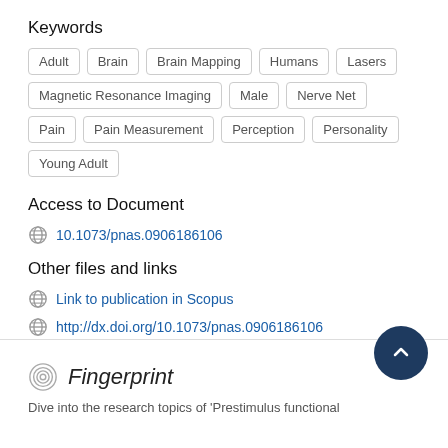Keywords
Adult
Brain
Brain Mapping
Humans
Lasers
Magnetic Resonance Imaging
Male
Nerve Net
Pain
Pain Measurement
Perception
Personality
Young Adult
Access to Document
10.1073/pnas.0906186106
Other files and links
Link to publication in Scopus
http://dx.doi.org/10.1073/pnas.0906186106
Fingerprint
Dive into the research topics of 'Prestimulus functional